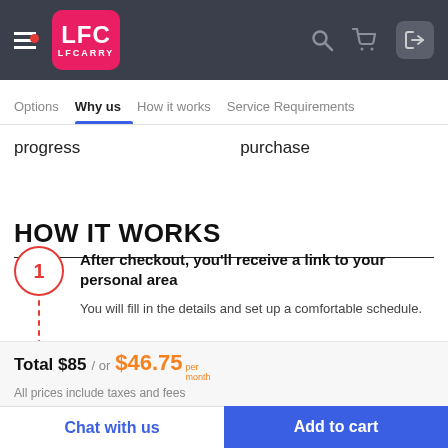[Figure (screenshot): LFCarry website header with logo, hamburger menu, red notification dot, search icon, cart icon, and login button on dark background]
Options  Why us  How it works  Service Requirements
progress	purchase
HOW IT WORKS
After checkout, you'll receive a link to your personal area
You will fill in the details and set up a comfortable schedule.
Total $85 / or $46.75 per month
All prices include taxes and fees
Chat with us   Add to cart